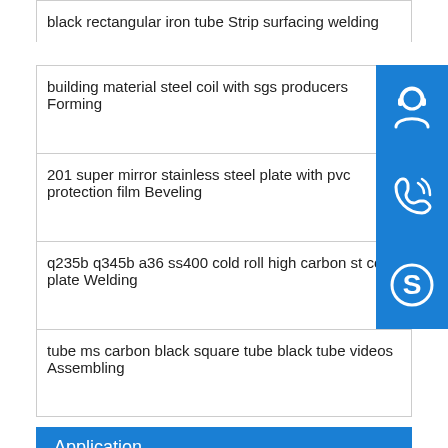black rectangular iron tube Strip surfacing welding
building material steel coil with sgs producers Forming
201 super mirror stainless steel plate with pvc protection film Beveling
q235b q345b a36 ss400 cold roll high carbon st coil plate Welding
tube ms carbon black square tube black tube videos Assembling
Application
competitive price alloy steel scr440 Grinding